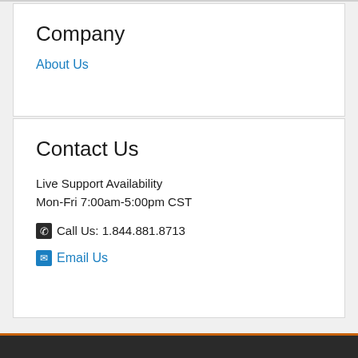Company
About Us
Contact Us
Live Support Availability
Mon-Fri 7:00am-5:00pm CST
Call Us: 1.844.881.8713
Email Us